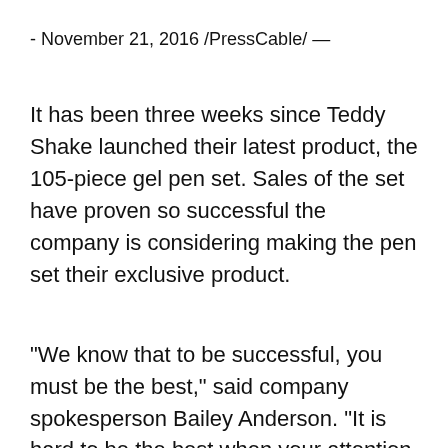- November 21, 2016 /PressCable/ —
It has been three weeks since Teddy Shake launched their latest product, the 105-piece gel pen set. Sales of the set have proven so successful the company is considering making the pen set their exclusive product.
“We know that to be successful, you must be the best,” said company spokesperson Bailey Anderson. “It is hard to be the best when your attention is diverted into multiple directions. Our thought is that